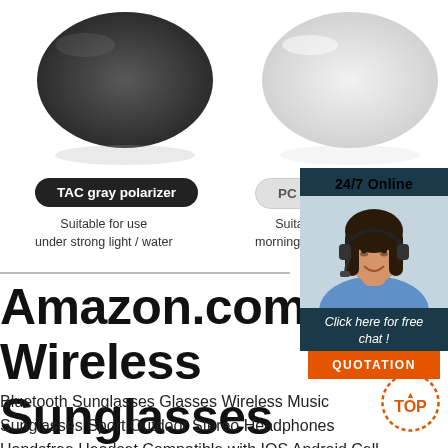[Figure (photo): Two sunglass lenses side by side: a dark TAC gray polarizer lens on the left and a light/transparent PC lens on the right, with labels and usage descriptions below each.]
TAC gray polarizer
PC transparent shall
Suitable for use under strong light / water
Suitable morning / eveni
[Figure (infographic): 24/7 Online chat support widget with a photo of a female customer service representative wearing a headset, a 'Click here for free chat!' text, and a QUOTATION button.]
Amazon.com: Wireless Sunglasses Earphone S Glasses ...
Bluetooth Sunglasses Glasses Wireless Music Sunglasses Sport Outdoor Stereo Headphones Handsfree Headset Compatible with IOS Android Cell Phones Smartphones Tablets PC Driving Biking
[Figure (logo): TOP badge/seal in orange dotted circle with 'TOP' text in orange.]